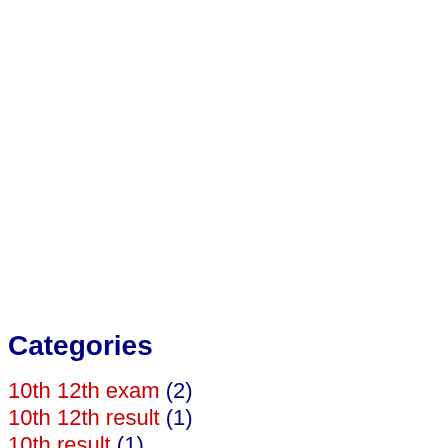Categories
10th 12th exam (2)
10th 12th result (1)
10th result (1)